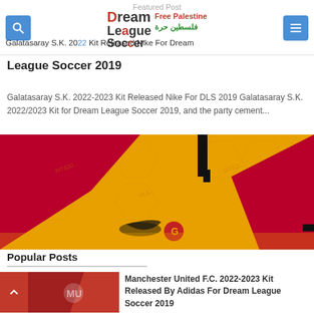Featured Post | Dream League Soccer | Free Palestine | Galatasaray S.K. 2022 Kit Released Nike For Dream League Soccer 2019
Galatasaray S.K. 2022 Kit Released Nike For Dream League Soccer 2019
Galatasaray S.K. 2022-2023 Kit Released Nike For DLS 2019 Galatasaray S.K. 2022/2023 Kit for Dream League Soccer 2019, and the party cement...
[Figure (photo): Galatasaray S.K. yellow and red soccer kit close-up, showing the Nike logo and Galatasaray crest on an orange/yellow jersey with red panels and watermark patterns]
Popular Posts
[Figure (photo): Manchester United F.C. 2022-2023 red jersey kit thumbnail]
Manchester United F.C. 2022-2023 Kit Released By Adidas For Dream League Soccer 2019